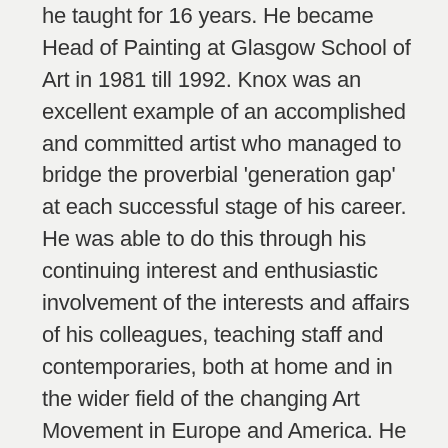he taught for 16 years. He became Head of Painting at Glasgow School of Art in 1981 till 1992. Knox was an excellent example of an accomplished and committed artist who managed to bridge the proverbial 'generation gap' at each successful stage of his career. He was able to do this through his continuing interest and enthusiastic involvement of the interests and affairs of his colleagues, teaching staff and contemporaries, both at home and in the wider field of the changing Art Movement in Europe and America. He has inspired and influenced generations of new artists graduating under his watch, many of whom now have successful careers with international status. Amongst them, to name a few, are Jenny Saville, Alison Watt, Steven Campbell, Adrian Wiszniewski, Ken Currie and Stephen Conroy. Knox has had numerous solo exhibitions throughout the UK and further afield. His group exhibitions include Chicago, Warsaw, Brussels, New York, Dusseldorf, Vienna, Sao